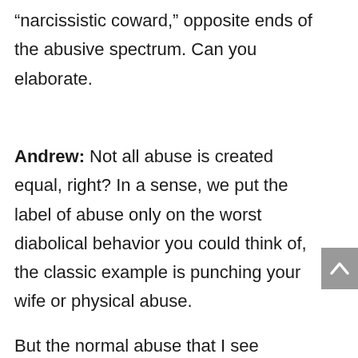“narcissistic coward,” opposite ends of the abusive spectrum. Can you elaborate.
Andrew: Not all abuse is created equal, right? In a sense, we put the label of abuse only on the worst diabolical behavior you could think of, the classic example is punching your wife or physical abuse.
But the normal abuse that I see